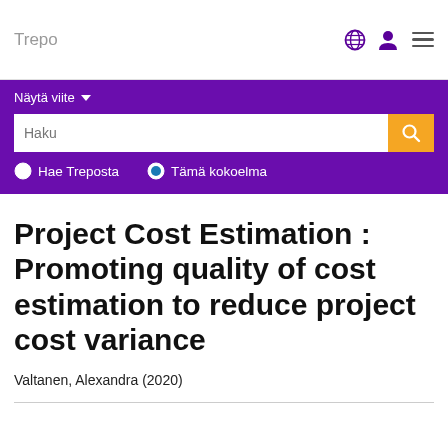Trepo
[Figure (screenshot): Purple search banner with 'Näytä viite' dropdown, a search box labeled 'Haku' with an orange search button, and two radio buttons: 'Hae Treposta' and 'Tämä kokoelma' (selected)]
Project Cost Estimation : Promoting quality of cost estimation to reduce project cost variance
Valtanen, Alexandra (2020)